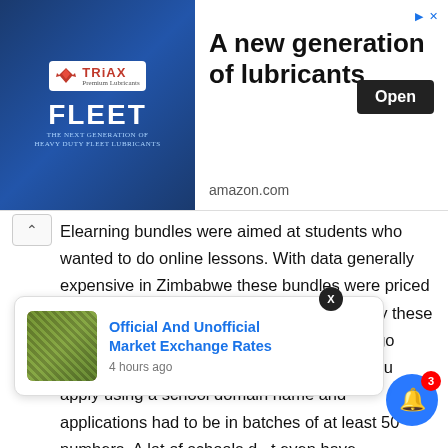[Figure (screenshot): Advertisement banner for TRiAX FLEET lubricants with logo on left side and text 'A new generation of lubricants' with Open button and amazon.com source on right]
Elearning bundles were aimed at students who wanted to do online lessons. With data generally expensive in Zimbabwe these bundles were priced below normal bundles but the process to buy these bundles was anything but easy. You had to go through hoops including making sure that you apply using a school domain name and applications had to be in batches of at least 50 numbers. A lot of schools d[X]t even have [the door to] [n]ts starte selling the bundle to people who were not even
[Figure (screenshot): Notification popup showing 'Official And Unofficial Market Exchange Rates' article link with thumbnail image, posted 4 hours ago]
[Figure (screenshot): Blue bell notification button with red badge showing count of 3]